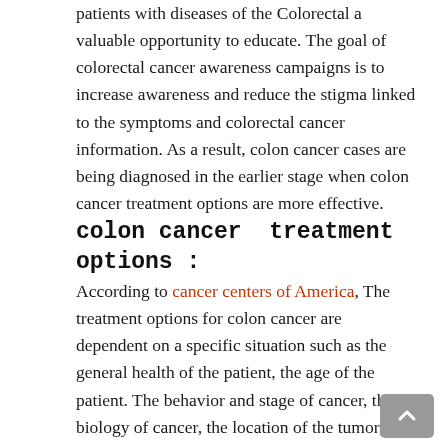patients with diseases of the Colorectal a valuable opportunity to educate. The goal of colorectal cancer awareness campaigns is to increase awareness and reduce the stigma linked to the symptoms and colorectal cancer information. As a result, colon cancer cases are being diagnosed in the earlier stage when colon cancer treatment options are more effective.
colon cancer  treatment options :
According to cancer centers of America, The treatment options for colon cancer are dependent on a specific situation such as the general health of the patient, the age of the patient. The behavior and stage of cancer, the biology of cancer, the location of the tumor, the stage as well as other parameters are taken into account in order to determine the course of treatment to get rid of colon cancer.
Colon cancer treatment is inclusive of a specific surgery for